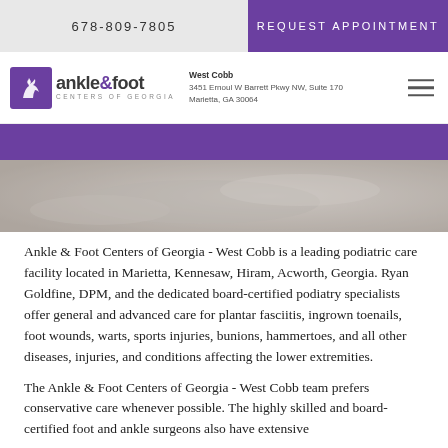678-809-7805   REQUEST APPOINTMENT
[Figure (logo): Ankle & Foot Centers of Georgia logo with purple deer icon, West Cobb address: 3451 Ernoul W Barrett Pkwy NW, Suite 170, Marietta, GA 30064]
[Figure (photo): Blurred background photo of foot/ankle medical examination, grayscale tones]
Ankle & Foot Centers of Georgia - West Cobb is a leading podiatric care facility located in Marietta, Kennesaw, Hiram, Acworth, Georgia. Ryan Goldfine, DPM, and the dedicated board-certified podiatry specialists offer general and advanced care for plantar fasciitis, ingrown toenails, foot wounds, warts, sports injuries, bunions, hammertoes, and all other diseases, injuries, and conditions affecting the lower extremities.
The Ankle & Foot Centers of Georgia - West Cobb team prefers conservative care whenever possible. The highly skilled and board-certified foot and ankle surgeons also have extensive